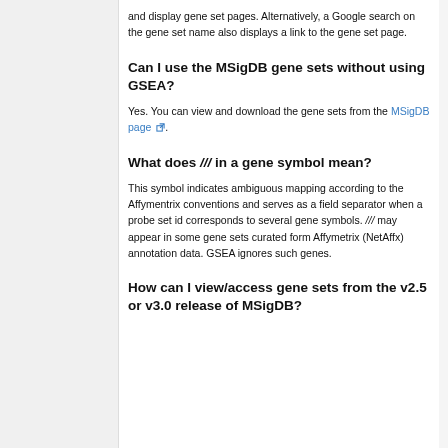and display gene set pages. Alternatively, a Google search on the gene set name also displays a link to the gene set page.
Can I use the MSigDB gene sets without using GSEA?
Yes. You can view and download the gene sets from the MSigDB page.
What does /// in a gene symbol mean?
This symbol indicates ambiguous mapping according to the Affymentrix conventions and serves as a field separator when a probe set id corresponds to several gene symbols. /// may appear in some gene sets curated form Affymetrix (NetAffx) annotation data. GSEA ignores such genes.
How can I view/access gene sets from the v2.5 or v3.0 release of MSigDB?